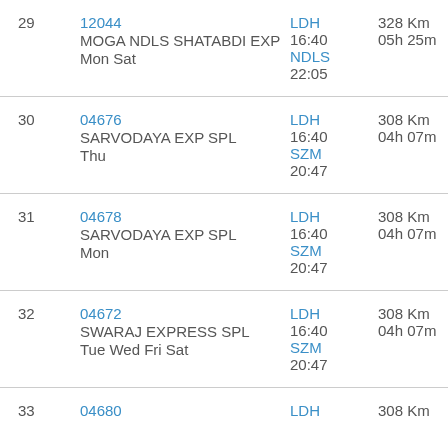| # | Train | Station/Time | Distance/Duration |
| --- | --- | --- | --- |
| 29 | 12044
MOGA NDLS SHATABDI EXP
Mon Sat | LDH
16:40
NDLS
22:05 | 328 Km
05h 25m |
| 30 | 04676
SARVODAYA EXP SPL
Thu | LDH
16:40
SZM
20:47 | 308 Km
04h 07m |
| 31 | 04678
SARVODAYA EXP SPL
Mon | LDH
16:40
SZM
20:47 | 308 Km
04h 07m |
| 32 | 04672
SWARAJ EXPRESS SPL
Tue Wed Fri Sat | LDH
16:40
SZM
20:47 | 308 Km
04h 07m |
| 33 | 04680
 | LDH
 | 308 Km
 |